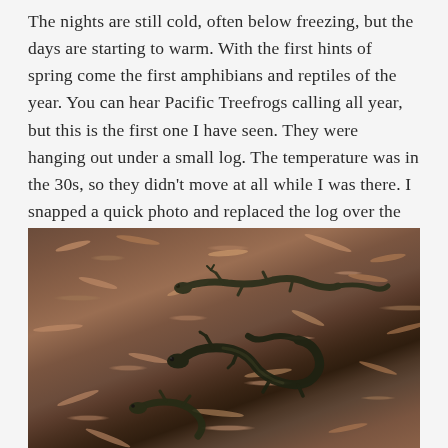The nights are still cold, often below freezing, but the days are starting to warm. With the first hints of spring come the first amphibians and reptiles of the year. You can hear Pacific Treefrogs calling all year, but this is the first one I have seen. They were hanging out under a small log. The temperature was in the 30s, so they didn't move at all while I was there. I snapped a quick photo and replaced the log over the frog.
[Figure (photo): A photograph of what appear to be two dark-colored salamanders or newts resting on woody debris and mulch on the ground. The animals are dark olive-green to black in color, elongated with visible limbs. The substrate is brown with wood chips and organic material.]